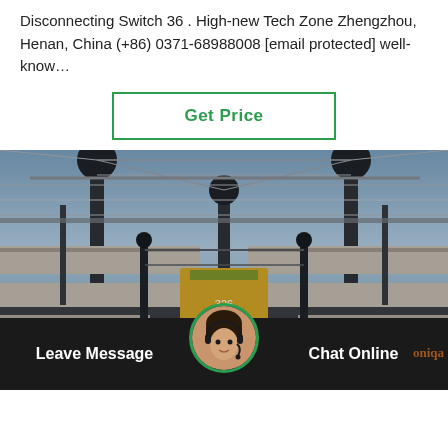Disconnecting Switch 36 . High-new Tech Zone Zhengzhou, Henan, China (+86) 0371-68988008 [email protected] well-know…
Get Price
[Figure (photo): Electrical substation with high-voltage equipment, tall insulator columns, overhead lines, pipes, and a yellow truck/vehicle in the center background. Industrial power infrastructure scene.]
Leave Message
Chat Online